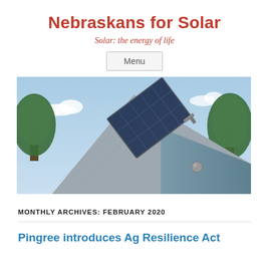Nebraskans for Solar
Solar: the energy of life
Menu
[Figure (photo): A house rooftop with solar panels installed on gray shingles, triangular roof peak visible, blue sky with clouds, green trees in background.]
MONTHLY ARCHIVES: FEBRUARY 2020
Pingree introduces Ag Resilience Act